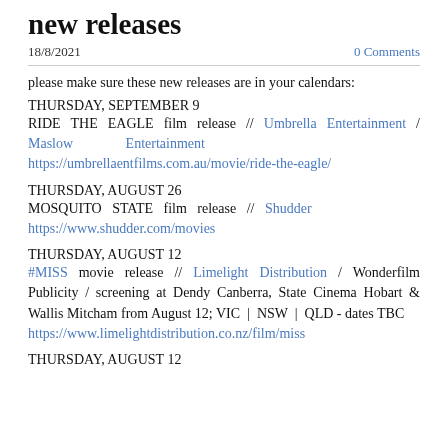new releases
18/8/2021   0 Comments
please make sure these new releases are in your calendars:
THURSDAY, SEPTEMBER 9
RIDE THE EAGLE film release // Umbrella Entertainment / Maslow Entertainment https://umbrellaentfilms.com.au/movie/ride-the-eagle/
THURSDAY, AUGUST 26
MOSQUITO STATE film release // Shudder https://www.shudder.com/movies
THURSDAY, AUGUST 12
#MISS movie release // Limelight Distribution / Wonderfilm Publicity / screening at Dendy Canberra, State Cinema Hobart & Wallis Mitcham from August 12; VIC | NSW | QLD - dates TBC https://www.limelightdistribution.co.nz/film/miss
THURSDAY, AUGUST 12